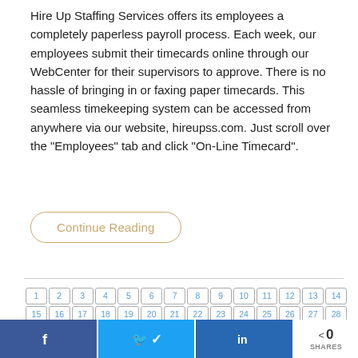Hire Up Staffing Services offers its employees a completely paperless payroll process. Each week, our employees submit their timecards online through our WebCenter for their supervisors to approve. There is no hassle of bringing in or faxing paper timecards. This seamless timekeeping system can be accessed from anywhere via our website, hireupss.com. Just scroll over the "Employees" tab and click "On-Line Timecard".
Continue Reading
1 2 3 4 5 6 7 8 9 10 11 12 13 14 15 16 17 18 19 20 21 22 23 24 25 26 27 28 29 30 31 32 33 34 35 36 37 38 39 40 41 42 43 44 45 46 47 48 49
0 SHARES